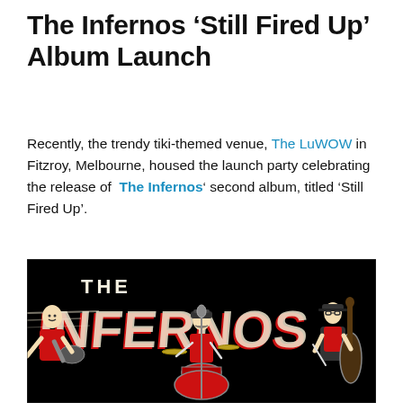The Infernos 'Still Fired Up' Album Launch
Recently, the trendy tiki-themed venue, The LuWOW in Fitzroy, Melbourne, housed the launch party celebrating the release of  The Infernos' second album, titled 'Still Fired Up'.
[Figure (illustration): Black and white cartoon-style band illustration with red accents showing three musicians: guitarist on left, drummer in center, and double bass player on right, under large bold 'THE INFERNOS' band name text in distressed font. All musicians wear red and black outfits.]